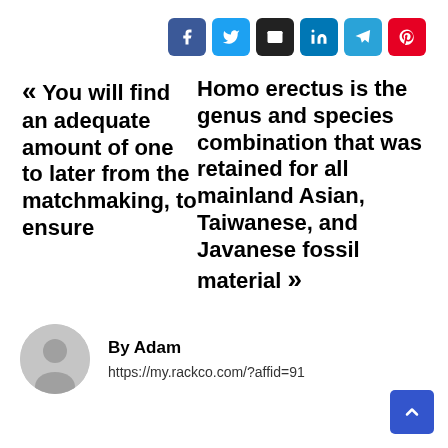[Figure (other): Row of six social share buttons: Facebook (blue), Twitter (light blue), Email (black), LinkedIn (blue), Telegram (cyan), Pinterest (red)]
« You will find an adequate amount of one to later from the matchmaking, to ensure    Homo erectus is the genus and species combination that was retained for all mainland Asian, Taiwanese, and Javanese fossil material »
[Figure (photo): Circular gray avatar placeholder icon with a person silhouette]
By Adam
https://my.rackco.com/?affid=91
[Figure (other): Blue scroll-to-top button with upward chevron arrow]